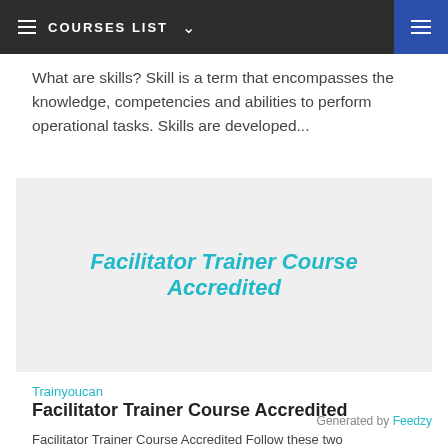COURSES LIST
What are skills? Skill is a term that encompasses the knowledge, competencies and abilities to perform operational tasks. Skills are developed...
[Figure (other): Card with light grey background displaying the text 'Facilitator Trainer Course Accredited' in teal italic bold font]
Trainyoucan
Facilitator Trainer Course Accredited
Generated by Feedzy
Facilitator Trainer Course Accredited Follow these two